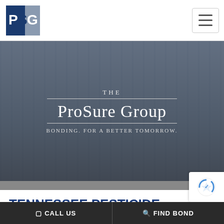[Figure (logo): PSG logo - blue and grey square logo with letters P, S, G]
[Figure (photo): Hero banner with building/waterfront background overlaid with dark tint, showing The ProSure Group branding]
TENNESSEE PESTICIDE APPLICATOR BOND
If you are looking for information, forms or applications for a Tennessee Pesticide Applicator Bond then connect with a surety expert today by calling (866) 276-3705 or submitting a bond request now. We will make sure to walk you through each s…
CALL US   FIND BOND